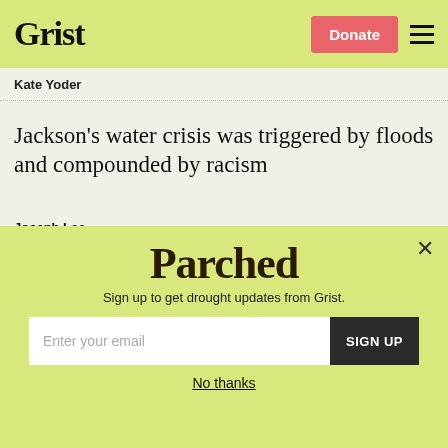Grist | Donate
Kate Yoder
Jackson's water crisis was triggered by floods and compounded by racism
Joseph Lee
Why drought looks different depending on your region
[Figure (other): Parchea newsletter signup modal overlay with logo, email input field, SIGN UP button, and No thanks link on yellow-green background]
Sign up to get drought updates from Grist.
Enter your email
SIGN UP
No thanks